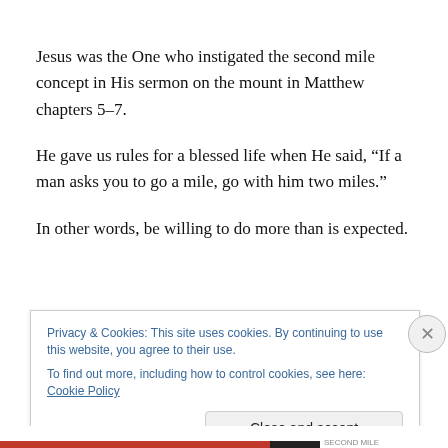Jesus was the One who instigated the second mile concept in His sermon on the mount in Matthew chapters 5–7.
He gave us rules for a blessed life when He said, “If a man asks you to go a mile, go with him two miles.”
In other words, be willing to do more than is expected.
Privacy & Cookies: This site uses cookies. By continuing to use this website, you agree to their use.
To find out more, including how to control cookies, see here: Cookie Policy
Close and accept